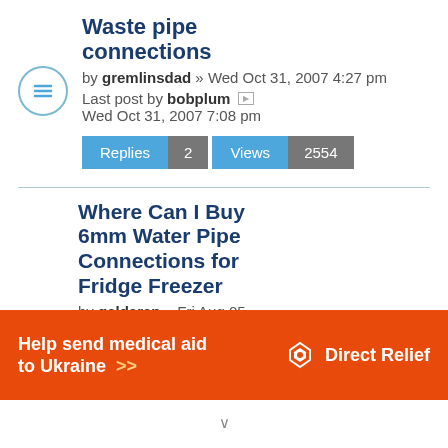Waste pipe connections
by gremlinsdad » Wed Oct 31, 2007 4:27 pm
Last post by bobplum Wed Oct 31, 2007 7:08 pm
Replies 2 Views 2554
Where Can I Buy 6mm Water Pipe Connections for Fridge Freezer
by galdaran » Fri Aug 05, 2016 9:33 am
[Figure (infographic): Orange advertisement banner: 'Help send medical aid to Ukraine >>' with Direct Relief logo on the right]